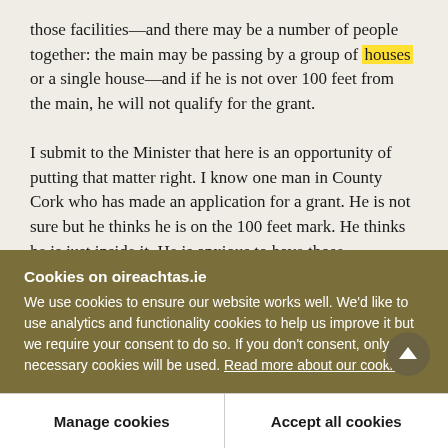those facilities—and there may be a number of people together: the main may be passing by a group of houses or a single house—and if he is not over 100 feet from the main, he will not qualify for the grant.
I submit to the Minister that here is an opportunity of putting that matter right. I know one man in County Cork who has made an application for a grant. He is not sure but he thinks he is on the 100 feet mark. He thinks he is just inside it. He is anxious to have those
Cookies on oireachtas.ie
We use cookies to ensure our website works well. We'd like to use analytics and functionality cookies to help us improve it but we require your consent to do so. If you don't consent, only necessary cookies will be used. Read more about our cookies
Manage cookies
Accept all cookies